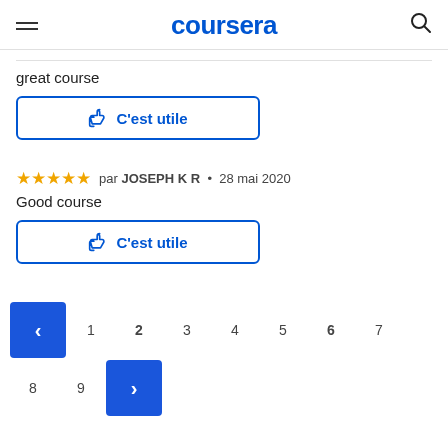coursera
great course
C'est utile
par JOSEPH K R • 28 mai 2020
Good course
C'est utile
1 2 3 4 5 6 7 8 9